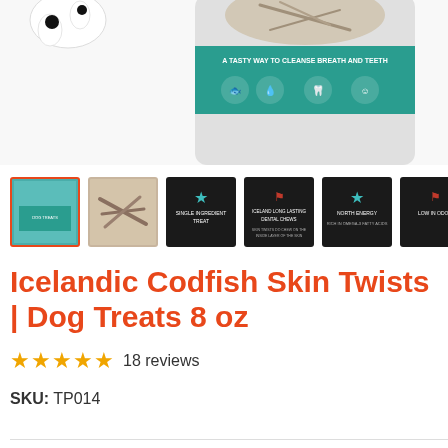[Figure (photo): Product photo of Icelandic Codfish Skin Twists dog treats bag with teal label, partially cropped at top, with a dalmatian paw visible on the left.]
[Figure (photo): Row of product thumbnail images: selected bag thumbnail with orange border, codfish skin twists sticks, dark card with teal star and product name text, dark card with red icon and text, dark card with teal star and text, dark card with red icon and text, scenic boat image.]
Icelandic Codfish Skin Twists | Dog Treats 8 oz
★★★★★ 18 reviews
SKU: TP014